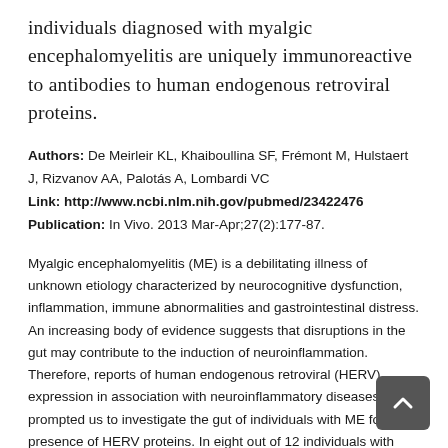individuals diagnosed with myalgic encephalomyelitis are uniquely immunoreactive to antibodies to human endogenous retroviral proteins.
Authors: De Meirleir KL, Khaiboullina SF, Frémont M, Hulstaert J, Rizvanov AA, Palotás A, Lombardi VC
Link: http://www.ncbi.nlm.nih.gov/pubmed/23422476
Publication: In Vivo. 2013 Mar-Apr;27(2):177-87.
Myalgic encephalomyelitis (ME) is a debilitating illness of unknown etiology characterized by neurocognitive dysfunction, inflammation, immune abnormalities and gastrointestinal distress. An increasing body of evidence suggests that disruptions in the gut may contribute to the induction of neuroinflammation. Therefore, reports of human endogenous retroviral (HERV) expression in association with neuroinflammatory diseases prompted us to investigate the gut of individuals with ME for the presence of HERV proteins. In eight out of 12 individuals with ME, immunoreactivity to HERV proteins was observed in duodenal biopsies. In contrast, no immunoreactivity was detected in any of the eight controls. Immunoreactivity to HERV Gag and Env proteins was uniquely co-localized in hematopoietic cells